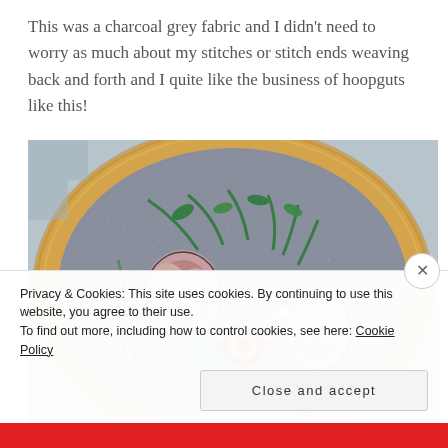This was a charcoal grey fabric and I didn't need to worry as much about my stitches or stitch ends weaving back and forth and I quite like the business of hoopguts like this!
[Figure (photo): Close-up photograph of an embroidery hoop with a wooden frame, showing colorful embroidery work including flowers, leaves, and decorative stitching on a grey fabric background.]
Privacy & Cookies: This site uses cookies. By continuing to use this website, you agree to their use.
To find out more, including how to control cookies, see here: Cookie Policy
Close and accept